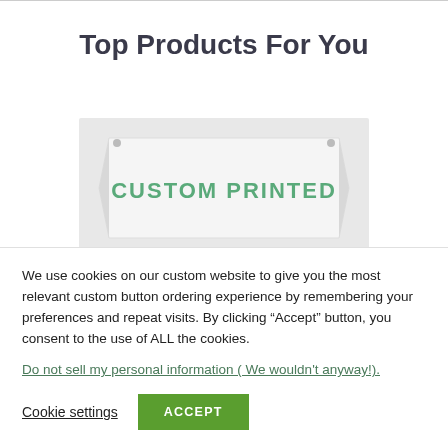Top Products For You
[Figure (illustration): A custom printed banner/sign illustration with a white banner shape and teal/green text reading 'CUSTOM PRINTED']
We use cookies on our custom website to give you the most relevant custom button ordering experience by remembering your preferences and repeat visits. By clicking “Accept” button, you consent to the use of ALL the cookies.
Do not sell my personal information ( We wouldn't anyway!).
Cookie settings   ACCEPT